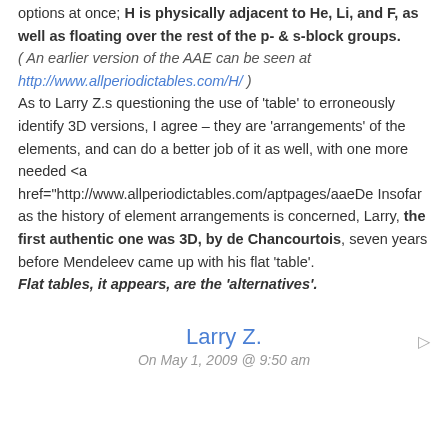options at once; H is physically adjacent to He, Li, and F, as well as floating over the rest of the p- & s-block groups. ( An earlier version of the AAE can be seen at http://www.allperiodictables.com/H/ ) As to Larry Z.s questioning the use of 'table' to erroneously identify 3D versions, I agree – they are 'arrangements' of the elements, and can do a better job of it as well, with one more needed <a href="http://www.allperiodictables.com/aptpages/aaeDe Insofar as the history of element arrangements is concerned, Larry, the first authentic one was 3D, by de Chancourtois, seven years before Mendeleev came up with his flat 'table'. Flat tables, it appears, are the 'alternatives'.
Larry Z.
On May 1, 2009 @ 9:50 am